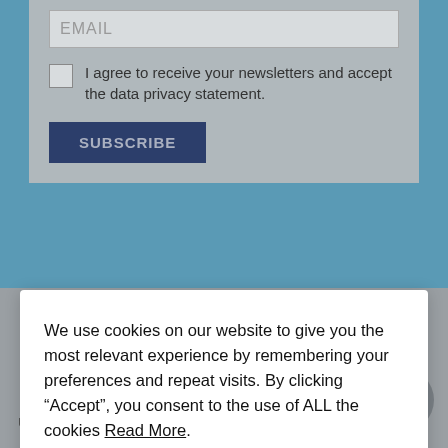[Figure (screenshot): Email subscription form with EMAIL input field, checkbox for agreeing to receive newsletters and accepting data privacy statement, and a SUBSCRIBE button, on a grey/blue background.]
We use cookies on our website to give you the most relevant experience by remembering your preferences and repeat visits. By clicking “Accept”, you consent to the use of ALL the cookies Read More.
Cookie settings
ACCEPT
WTS Energy © 2021
Unsubscribe | Disclaimer | Privacy Statement | Cookie Policy